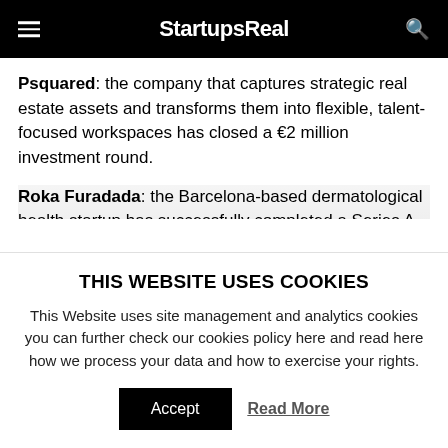StartupsReal
Psquared: the company that captures strategic real estate assets and transforms them into flexible, talent-focused workspaces has closed a €2 million investment round.
Roka Furadada: the Barcelona-based dermatological health startup has successfully completed a Series A funding round of £1.5 million. The capital increase was
THIS WEBSITE USES COOKIES
This Website uses site management and analytics cookies you can further check our cookies policy here and read here how we process your data and how to exercise your rights.
Accept   Read More